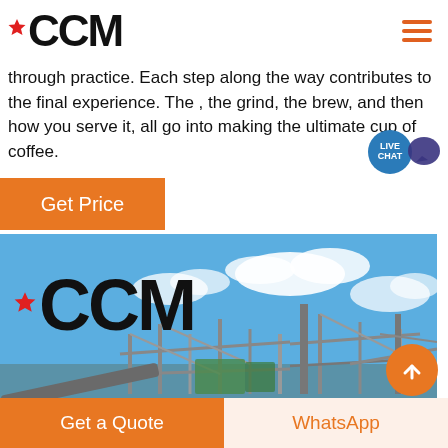CCM
through practice. Each step along the way contributes to the final experience. The , the grind, the brew, and then how you serve it, all go into making the ultimate cup of coffee.
Get Price
[Figure (photo): Industrial machinery/plant facility with steel framework, conveyor belts, and equipment under a blue sky, with the CCM logo overlaid in the top-left of the image.]
Get a Quote
WhatsApp